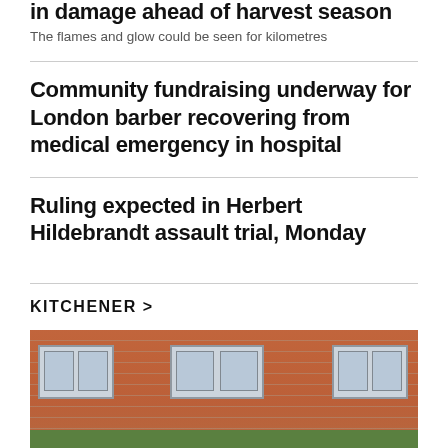in damage ahead of harvest season
The flames and glow could be seen for kilometres
Community fundraising underway for London barber recovering from medical emergency in hospital
Ruling expected in Herbert Hildebrandt assault trial, Monday
KITCHENER >
[Figure (photo): Exterior of a red brick building with windows and green foliage at the bottom]